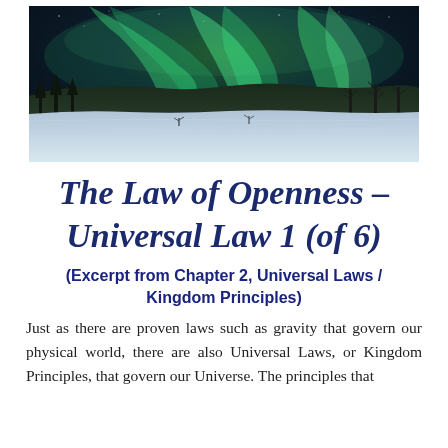[Figure (photo): Northern lights (aurora borealis) over a snowy winter landscape with bare trees silhouetted against a dramatic green-lit sky]
The Law of Openness – Universal Law 1 (of 6)
(Excerpt from Chapter 2, Universal Laws / Kingdom Principles)
Just as there are proven laws such as gravity that govern our physical world, there are also Universal Laws, or Kingdom Principles, that govern our Universe. The principles that